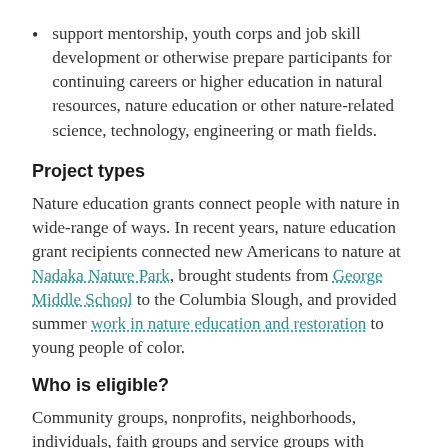support mentorship, youth corps and job skill development or otherwise prepare participants for continuing careers or higher education in natural resources, nature education or other nature-related science, technology, engineering or math fields.
Project types
Nature education grants connect people with nature in wide-range of ways. In recent years, nature education grant recipients connected new Americans to nature at Nadaka Nature Park, brought students from George Middle School to the Columbia Slough, and provided summer work in nature education and restoration to young people of color.
Who is eligible?
Community groups, nonprofits, neighborhoods, individuals, faith groups and service groups with